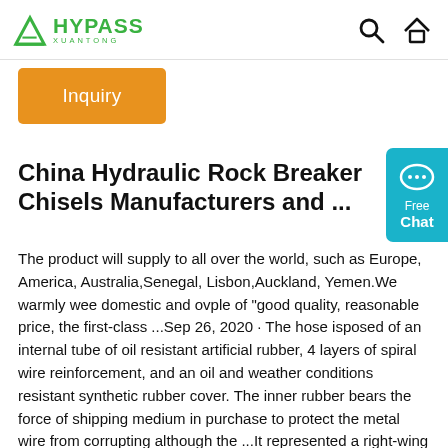HYPASS XUANTONG — navigation header with search and home icons
Inquiry
China Hydraulic Rock Breaker Chisels Manufacturers and ...
The product will supply to all over the world, such as Europe, America, Australia,Senegal, Lisbon,Auckland, Yemen.We warmly wee domestic and ovple of "good quality, reasonable price, the first-class ...Sep 26, 2020 · The hose isposed of an internal tube of oil resistant artificial rubber, 4 layers of spiral wire reinforcement, and an oil and weather conditions resistant synthetic rubber cover. The inner rubber bears the force of shipping medium in purchase to protect the metal wire from corrupting although the ...It represented a right-wing movement of a new type, something like a halfway house on the road toward fascism. Generalizations with regard to terrorism are almost always misleading, but it can be said that terrorism in the 1920s and 1930s certainly ...NYC's Plan to Remove Unhoused New